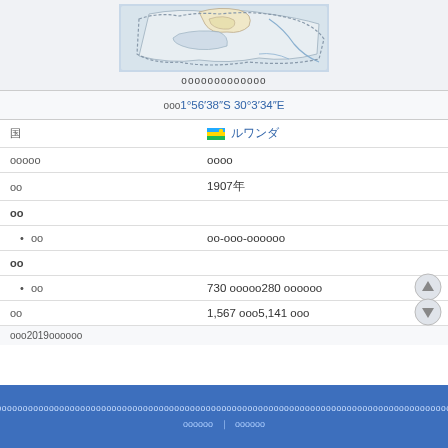[Figure (map): Map showing a region of Rwanda with district boundaries highlighted]
ооооооооооооо
ооо1°56'38"S 30°3'34"E
| 国 | ルワンダ |
| ооооо | оооо |
| оо | 1907年 |
| оо |  |
| • оо | оо-ооо-оооооо |
| оо |  |
| • оо | 730 оооооо280 ооооооо |
| оо | 1,567 ооо5,141 ооо |
ооо2019ооооо
ооооооооооооооооооооооооооооооооооооооооооооооооооооооооооооооооооооооооооооооооооооооооооооооооооооооо | оооооо | оооооо